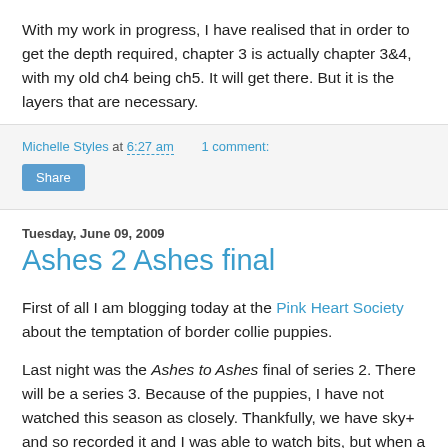With my work in progress, I have realised that in order to get the depth required, chapter 3 is actually chapter 3&4, with my old ch4 being ch5. It will get there. But it is the layers that are necessary.
Michelle Styles at 6:27 am   1 comment:
Share
Tuesday, June 09, 2009
Ashes 2 Ashes final
First of all I am blogging today at the Pink Heart Society about the temptation of border collie puppies.
Last night was the Ashes to Ashes final of series 2. There will be a series 3. Because of the puppies, I have not watched this season as closely. Thankfully, we have sky+ and so recorded it and I was able to watch bits, but when a